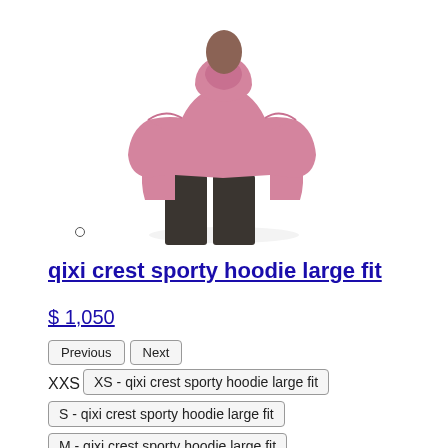[Figure (photo): Back view of a person wearing an oversized pink hoodie and dark wide-leg pants]
qixi crest sporty hoodie large fit
$ 1,050
Previous
Next
XXS
XS - qixi crest sporty hoodie large fit
S - qixi crest sporty hoodie large fit
M - qixi crest sporty hoodie large fit
L - qixi crest sporty hoodie large fit